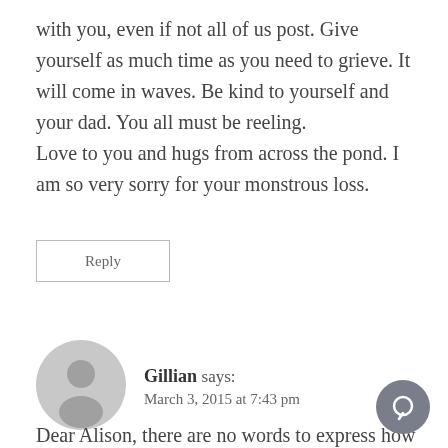with you, even if not all of us post. Give yourself as much time as you need to grieve. It will come in waves. Be kind to yourself and your dad. You all must be reeling.
Love to you and hugs from across the pond. I am so very sorry for your monstrous loss.
Reply
Gillian says:
March 3, 2015 at 7:43 pm
Dear Alison, there are no words to express how very sorry I am to read this. You are all in my thoughts, love and strength to you all as you navigate these difficult times. Xxx